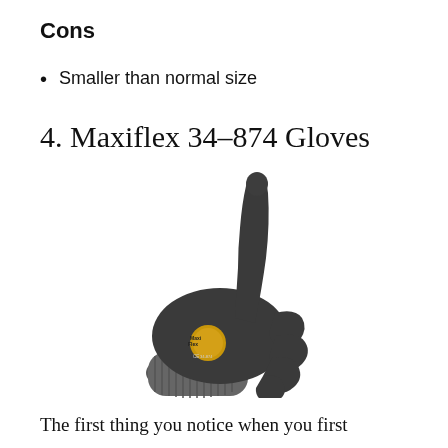Cons
Smaller than normal size
4. Maxiflex 34-874 Gloves
[Figure (photo): A dark gray Maxiflex 34-874 glove shown in a thumbs-up gesture, with a gold MaxiFlex logo on the wrist area.]
The first thing you notice when you first